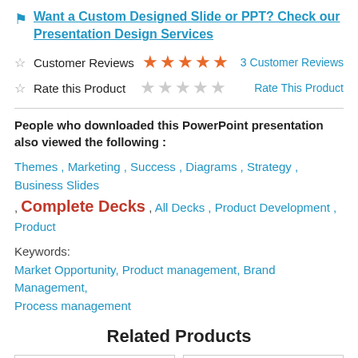Want a Custom Designed Slide or PPT? Check our Presentation Design Services
Customer Reviews  ★★★★★  3 Customer Reviews
Rate this Product  ☆☆☆☆☆  Rate This Product
People who downloaded this PowerPoint presentation also viewed the following :
Themes , Marketing , Success , Diagrams , Strategy , Business Slides , Complete Decks , All Decks , Product Development , Product
Keywords:
Market Opportunity, Product management, Brand Management, Process management
Related Products